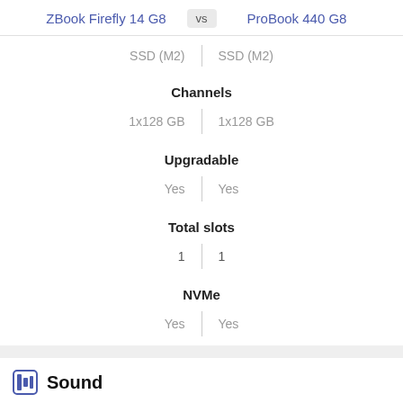ZBook Firefly 14 G8 vs ProBook 440 G8
| ZBook Firefly 14 G8 | ProBook 440 G8 |
| --- | --- |
| SSD (M2) | SSD (M2) |
| Channels |  |
| 1x128 GB | 1x128 GB |
| Upgradable |  |
| Yes | Yes |
| Total slots |  |
| 1 | 1 |
| NVMe |  |
| Yes | Yes |
Sound